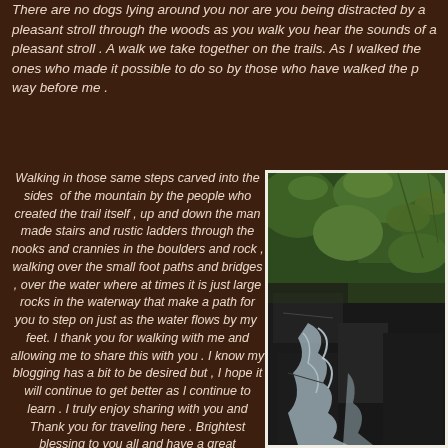There are no dogs lying around you nor are you being distracted by a pleasant stroll through the woods as you walk you hear the sounds of a pleasant stroll . A walk we take together on the trails. As I walked the ones who made it possible to do so by those who have walked the path way before me .
Walking in those same steps carved into the sides of the mountain by the people who created the trail itself , up and down the man made stairs and rustic ladders through the nooks and crannies in the boulders and rock , walking over the small foot paths and bridges , over the water where at times it is just large rocks in the waterway that make a path for you to step on just as the water flows by my feet. I thank you for walking with me and allowing me to share this with you . I know my blogging has a bit to be desired but , I hope it will continue to get better as I continue to learn . I truly enjoy sharing with you and Thank you for traveling here . Brightest blessing to you all and have a great Sunday......
[Figure (photo): A forest waterfall scene with rocks, moss, and water flowing through boulders surrounded by lush green foliage.]